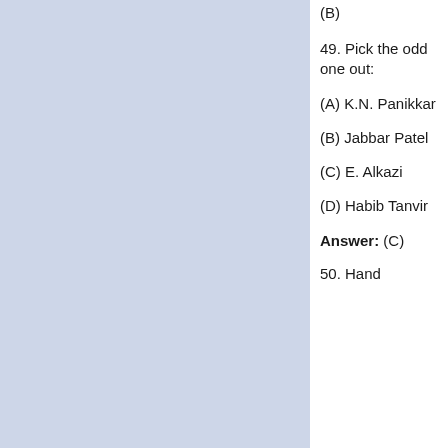(B)
49. Pick the odd one out:
(A) K.N. Panikkar
(B) Jabbar Patel
(C) E. Alkazi
(D) Habib Tanvir
Answer: (C)
50. Hand